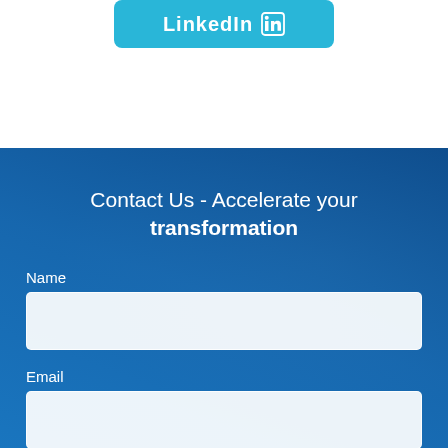[Figure (logo): LinkedIn button with icon, light blue/cyan background, white text]
Contact Us - Accelerate your transformation
Name
Email